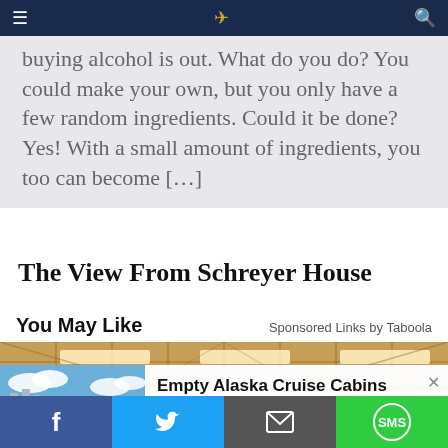Navigation bar with hamburger menu, site logo, and search icon
buying alcohol is out. What do you do? You could make your own, but you only have a few random ingredients. Could it be done? Yes! With a small amount of ingredients, you too can become […]
The View From Schreyer House
You May Like
Sponsored Links by Taboola
[Figure (photo): Interior of a large warehouse or industrial hall with overhead lighting and a grid-pattern ceiling]
[Figure (photo): Large cruise ships at port against a blue sky with clouds]
Empty Alaska Cruise Cabins Cost Almost Nothing
Alaska Cruise Deals | sponsored searches | Sponsored
Facebook | Twitter | Email | SMS social share buttons